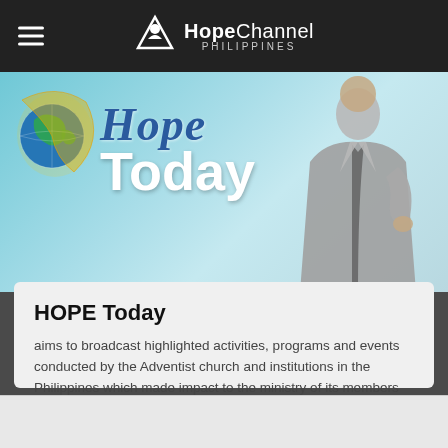Hope Channel Philippines
[Figure (screenshot): Hope Today program banner showing a man in grey suit with globe logo and 'Hope Today' text overlay on teal background]
HOPE Today
aims to broadcast highlighted activities, programs and events conducted by the Adventist church and institutions in the Philippines which made impact to the ministry of its members and benefited the surrounding community.
WATCH EPISODES
DISCOVER MORE